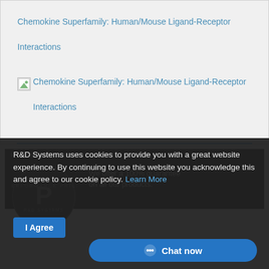Chemokine Superfamily: Human/Mouse Ligand-Receptor Interactions
[Figure (illustration): Broken image icon placeholder for Chemokine Superfamily: Human/Mouse Ligand-Receptor Interactions poster]
Chemokine Superfamily: Human/Mouse Ligand-Receptor Interactions
R&D Systems uses cookies to provide you with a great website experience. By continuing to use this website you acknowledge this and agree to our cookie policy. Learn More
I Agree
R&D Systems Guarantee
[Figure (logo): R&D Systems circular performance guarantee logo in dark gray with letter P]
We offer a 100% guarantee on all our products.
Chat now